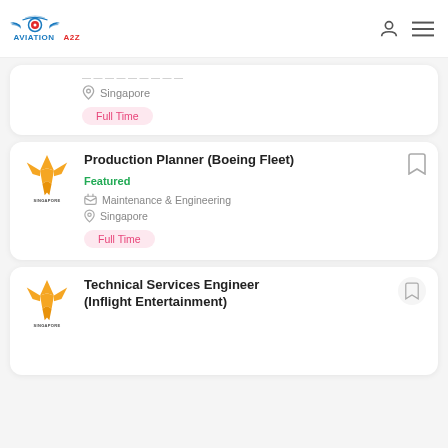AVIATION A2Z
Singapore | Full Time
Production Planner (Boeing Fleet)
Featured
Maintenance & Engineering
Singapore
Full Time
Technical Services Engineer (Inflight Entertainment)